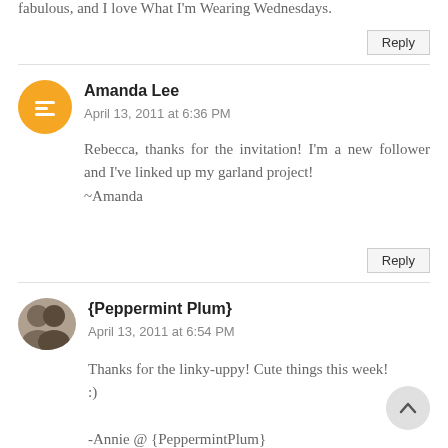fabulous, and I love What I'm Wearing Wednesdays.
Reply
Amanda Lee
April 13, 2011 at 6:36 PM
Rebecca, thanks for the invitation! I'm a new follower and I've linked up my garland project!
~Amanda
Reply
{Peppermint Plum}
April 13, 2011 at 6:54 PM
Thanks for the linky-uppy! Cute things this week! :)

-Annie @ {PeppermintPlum}